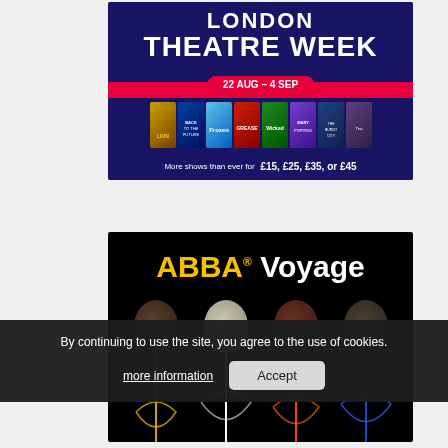[Figure (infographic): London Theatre Week promotional banner. Pink/red background with dark navy arc at top containing 'LONDON THEATRE WEEK' text. Date badge '22 AUG – 4 SEP' in pink pill. Multiple show posters displayed including Lion King, Back to the Future, Frozen, Grease, Wicked, Mary Poppins. Bottom bar reads 'More shows than ever for £15, £25, £35, or £45'.]
[Figure (infographic): ABBA Voyage promotional banner. Black background with 'ABBA' in gold/yellow and 'Voyage' in white large text. Four head silhouettes of ABBA members visible below the title with colorful glitter/light effects.]
By continuing to use the site, you agree to the use of cookies.
more information
Accept